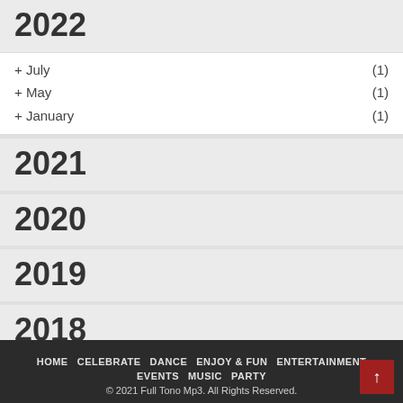2022
+ July (1)
+ May (1)
+ January (1)
2021
2020
2019
2018
HOME  CELEBRATE  DANCE  ENJOY & FUN  ENTERTAINMENT  EVENTS  MUSIC  PARTY
© 2021 Full Tono Mp3. All Rights Reserved.